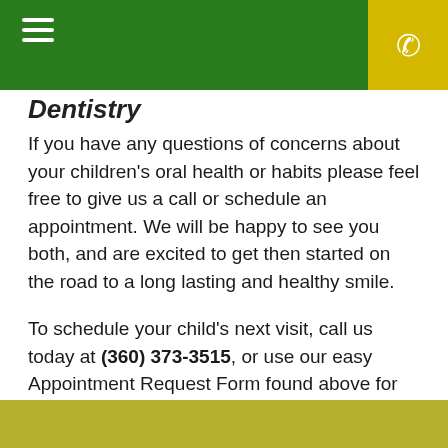Dentistry
If you have any questions of concerns about your children's oral health or habits please feel free to give us a call or schedule an appointment. We will be happy to see you both, and are excited to get then started on the road to a long lasting and healthy smile.
To schedule your child's next visit, call us today at (360) 373-3515, or use our easy Appointment Request Form found above for instant scheduling requests.